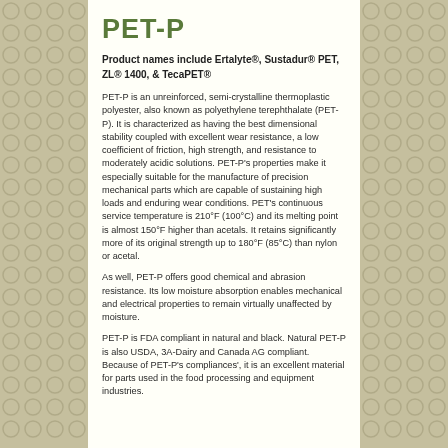PET-P
Product names include Ertalyte®, Sustadur® PET, ZL® 1400, & TecaPET®
PET-P is an unreinforced, semi-crystalline thermoplastic polyester, also known as polyethylene terephthalate (PET-P). It is characterized as having the best dimensional stability coupled with excellent wear resistance, a low coefficient of friction, high strength, and resistance to moderately acidic solutions. PET-P's properties make it especially suitable for the manufacture of precision mechanical parts which are capable of sustaining high loads and enduring wear conditions. PET's continuous service temperature is 210°F (100°C) and its melting point is almost 150°F higher than acetals. It retains significantly more of its original strength up to 180°F (85°C) than nylon or acetal.
As well, PET-P offers good chemical and abrasion resistance. Its low moisture absorption enables mechanical and electrical properties to remain virtually unaffected by moisture.
PET-P is FDA compliant in natural and black. Natural PET-P is also USDA, 3A-Dairy and Canada AG compliant. Because of PET-P's compliances', it is an excellent material for parts used in the food processing and equipment industries.